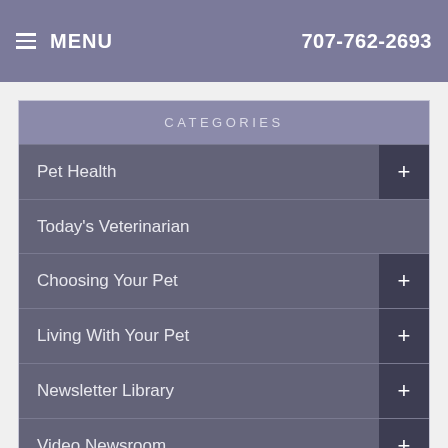MENU | 707-762-2693
CATEGORIES
Pet Health
Today's Veterinarian
Choosing Your Pet
Living With Your Pet
Newsletter Library
Video Newsroom
Client Survey